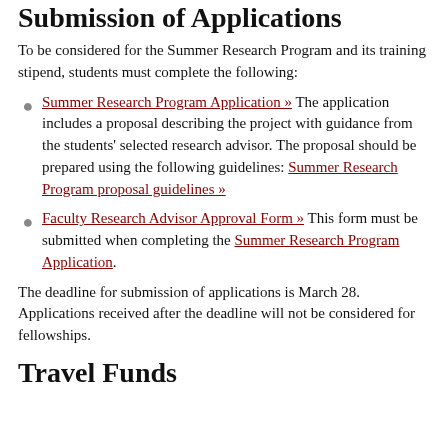Submission of Applications
To be considered for the Summer Research Program and its training stipend, students must complete the following:
Summer Research Program Application » The application includes a proposal describing the project with guidance from the students' selected research advisor. The proposal should be prepared using the following guidelines: Summer Research Program proposal guidelines »
Faculty Research Advisor Approval Form » This form must be submitted when completing the Summer Research Program Application.
The deadline for submission of applications is March 28. Applications received after the deadline will not be considered for fellowships.
Travel Funds